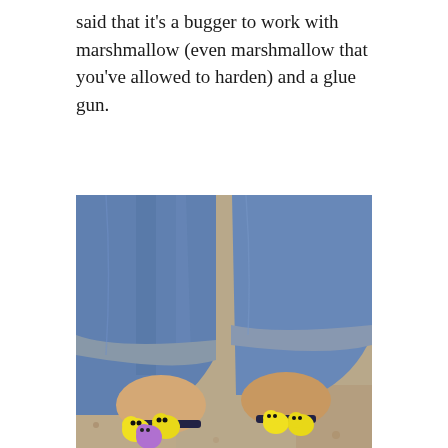said that it's a bugger to work with marshmallow (even marshmallow that you've allowed to harden) and a glue gun.
[Figure (photo): A close-up photo looking down at a person's feet wearing dark sandals/flip-flops decorated with colorful marshmallow Peeps bunnies (yellow and purple). The person is wearing rolled-up blue jeans. The background is a beige/tan carpet.]